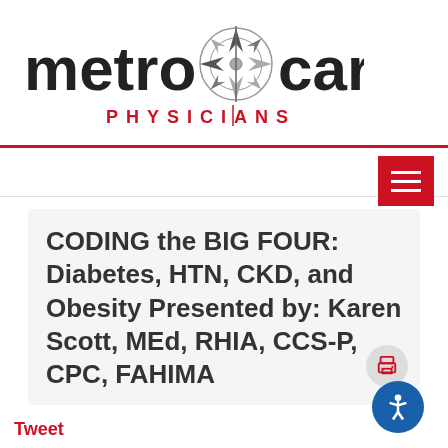[Figure (logo): Metro Care Physicians logo with compass rose graphic between 'metro' and 'care' text, 'PHYSICIANS' in red below]
CODING the BIG FOUR: Diabetes, HTN, CKD, and Obesity Presented by: Karen Scott, MEd, RHIA, CCS-P, CPC, FAHIMA
Tweet